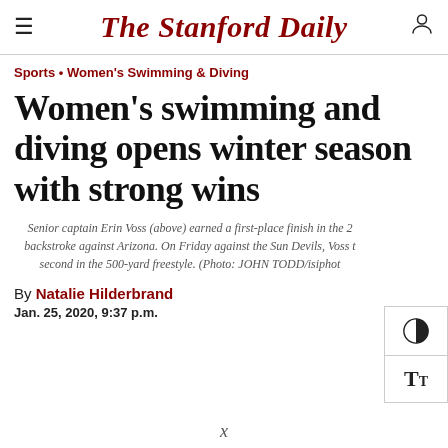The Stanford Daily
Sports • Women's Swimming & Diving
Women's swimming and diving opens winter season with strong wins
Senior captain Erin Voss (above) earned a first-place finish in the 2 backstroke against Arizona. On Friday against the Sun Devils, Voss t second in the 500-yard freestyle. (Photo: JOHN TODD/isiphot
By Natalie Hilderbrand
Jan. 25, 2020, 9:37 p.m.